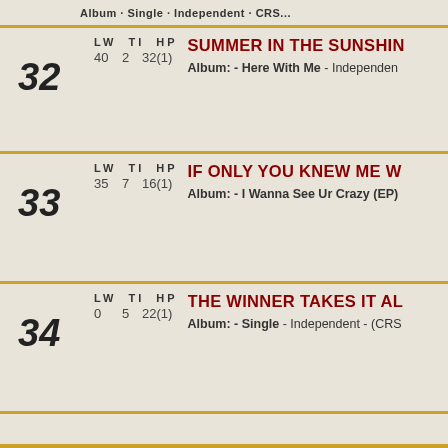Album · Single · Independent · CRS...
32 | LW: 40 TI: 2 HP: 32(1) | SUMMER IN THE SUNSHINE | Album: - Here With Me - Independent
33 | LW: 35 TI: 7 HP: 16(1) | IF ONLY YOU KNEW ME W... | Album: - I Wanna See Ur Crazy (EP)
34 | LW: 0 TI: 5 HP: 22(1) | THE WINNER TAKES IT AL... | Album: - Single - Independent - (CRS...)